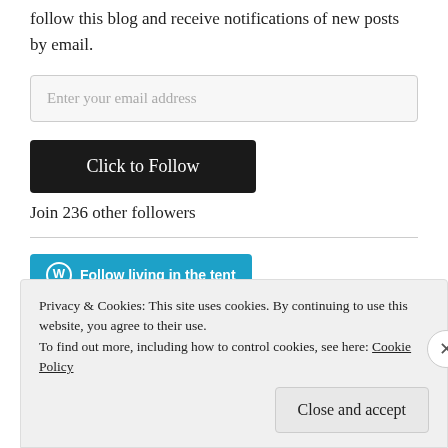follow this blog and receive notifications of new posts by email.
Enter your email address
Click to Follow
Join 236 other followers
[Figure (other): WordPress Follow button: 'Follow living in the tent' with WordPress logo icon on teal/blue background]
Privacy & Cookies: This site uses cookies. By continuing to use this website, you agree to their use.
To find out more, including how to control cookies, see here: Cookie Policy
Close and accept